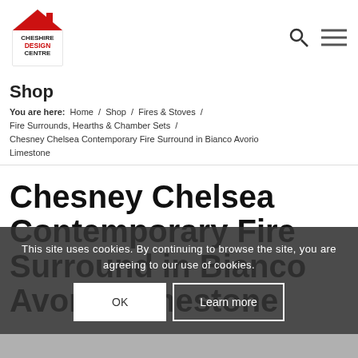Cheshire Design Centre logo, search icon, menu icon
Shop
You are here: Home / Shop / Fires & Stoves / Fire Surrounds, Hearths & Chamber Sets / Chesney Chelsea Contemporary Fire Surround in Bianco Avorio Limestone
Chesney Chelsea Contemporary Fire Surround in Bianco Avorio Limestone
This site uses cookies. By continuing to browse the site, you are agreeing to our use of cookies.
OK | Learn more